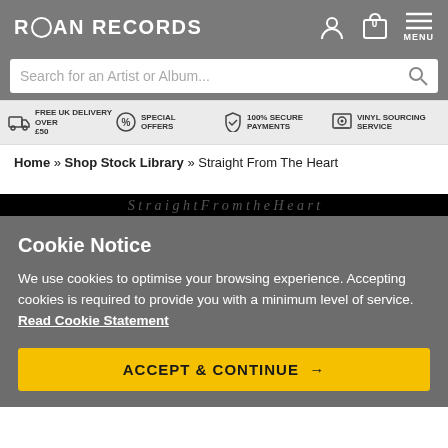ROAN RECORDS
Search for an Artist or Album...
FREE UK DELIVERY OVER £50 | SPECIAL OFFERS | 100% SECURE PAYMENTS | VINYL SOURCING SERVICE
Home » Shop Stock Library » Straight From The Heart
Cookie Notice
We use cookies to optimise your browsing experience. Accepting cookies is required to provide you with a minimum level of service. Read Cookie Statement
ACCEPT & CONTINUE →